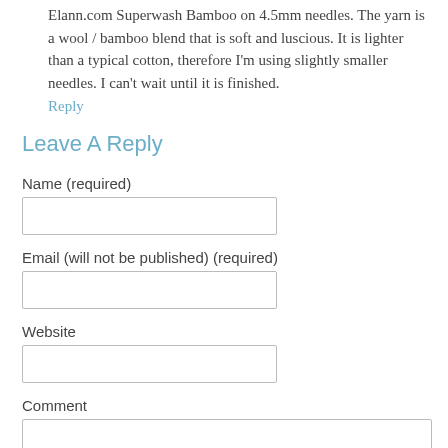Elann.com Superwash Bamboo on 4.5mm needles. The yarn is a wool / bamboo blend that is soft and luscious. It is lighter than a typical cotton, therefore I'm using slightly smaller needles. I can't wait until it is finished.
Reply
Leave A Reply
Name (required)
Email (will not be published) (required)
Website
Comment
Submit Comment